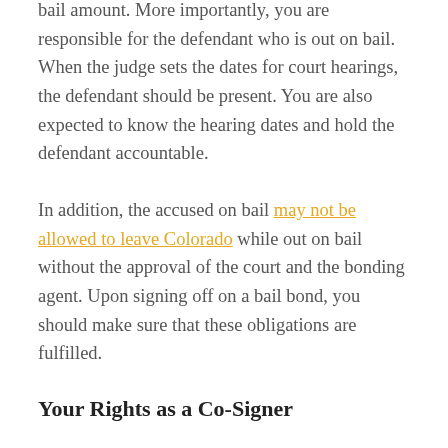bail amount. More importantly, you are responsible for the defendant who is out on bail. When the judge sets the dates for court hearings, the defendant should be present. You are also expected to know the hearing dates and hold the defendant accountable.
In addition, the accused on bail may not be allowed to leave Colorado while out on bail without the approval of the court and the bonding agent. Upon signing off on a bail bond, you should make sure that these obligations are fulfilled.
Your Rights as a Co-Signer
While you will be asked to meet some conditions as a co-signer you are also afforded some rights.